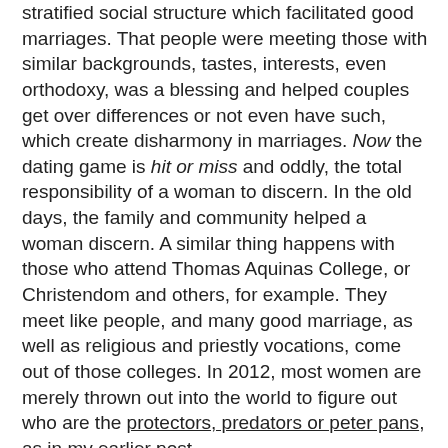stratified social structure which facilitated good marriages. That people were meeting those with similar backgrounds, tastes, interests, even orthodoxy, was a blessing and helped couples get over differences or not even have such, which create disharmony in marriages. Now the dating game is hit or miss and oddly, the total responsibility of a woman to discern. In the old days, the family and community helped a woman discern. A similar thing happens with those who attend Thomas Aquinas College, or Christendom and others, for example. They meet like people, and many good marriage, as well as religious and priestly vocations, come out of those colleges. In 2012, most women are merely thrown out into the world to figure out who are the protectors, predators or peter pans, as in my earlier post.
http://supertradmum-etheldredasplace.blogspot.co.uk/2012/05/protectors-predators-and-peter-pans.html
Thirdly, I am not going to get into multi-cultural arguments over staying at home. I write for Westerners. I usually write for the Americans and the English, and Anglo-Saxons prize